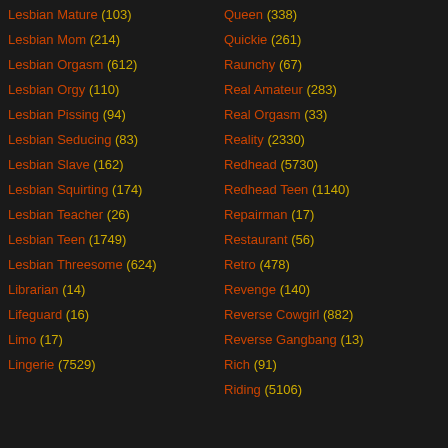Lesbian Mature (103)
Lesbian Mom (214)
Lesbian Orgasm (612)
Lesbian Orgy (110)
Lesbian Pissing (94)
Lesbian Seducing (83)
Lesbian Slave (162)
Lesbian Squirting (174)
Lesbian Teacher (26)
Lesbian Teen (1749)
Lesbian Threesome (624)
Librarian (14)
Lifeguard (16)
Limo (17)
Lingerie (7529)
Queen (338)
Quickie (261)
Raunchy (67)
Real Amateur (283)
Real Orgasm (33)
Reality (2330)
Redhead (5730)
Redhead Teen (1140)
Repairman (17)
Restaurant (56)
Retro (478)
Revenge (140)
Reverse Cowgirl (882)
Reverse Gangbang (13)
Rich (91)
Riding (5106)